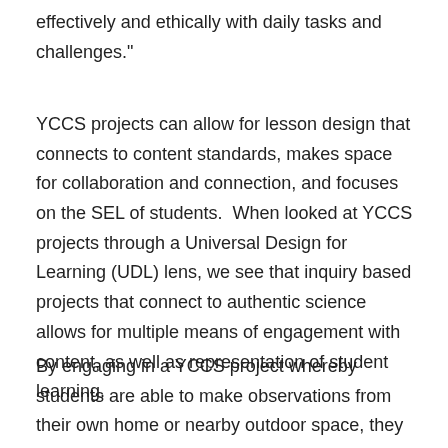effectively and ethically with daily tasks and challenges."
YCCS projects can allow for lesson design that connects to content standards, makes space for collaboration and connection, and focuses on the SEL of students.  When looked at YCCS projects through a Universal Design for Learning (UDL) lens, we see that inquiry based projects that connect to authentic science allows for multiple means of engagement with content, as well as representation of student learning.
By engaging in a YCCS project whereby students are able to make observations from their own home or nearby outdoor space, they are able to begin observing the